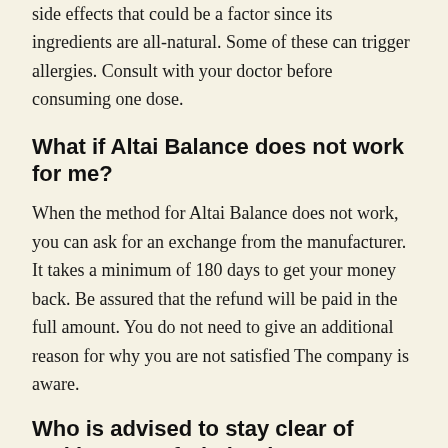side effects that could be a factor since its ingredients are all-natural. Some of these can trigger allergies. Consult with your doctor before consuming one dose.
What if Altai Balance does not work for me?
When the method for Altai Balance does not work, you can ask for an exchange from the manufacturer. It takes a minimum of 180 days to get your money back. Be assured that the refund will be paid in the full amount. You do not need to give an additional reason for why you are not satisfied The company is aware.
Who is advised to stay clear of making use of Altai Balance?
These supplements are not suitable for youngsters. Why? They are still naturally drawing. Supplementing them with